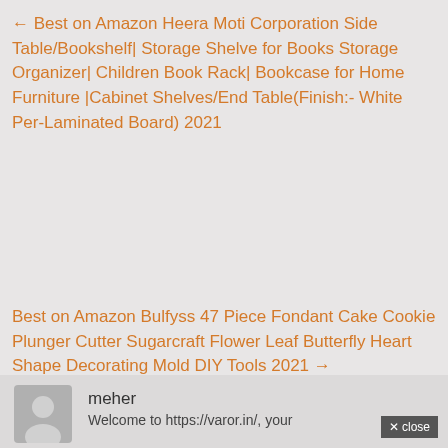← Best on Amazon Heera Moti Corporation Side Table/Bookshelf| Storage Shelve for Books Storage Organizer| Children Book Rack| Bookcase for Home Furniture |Cabinet Shelves/End Table(Finish:- White Per-Laminated Board) 2021
Best on Amazon Bulfyss 47 Piece Fondant Cake Cookie Plunger Cutter Sugarcraft Flower Leaf Butterfly Heart Shape Decorating Mold DIY Tools 2021 →
meher
Welcome to https://varor.in/, your